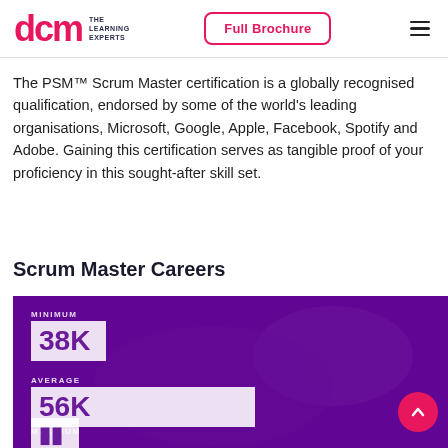DCM The Learning Experts | Full Brochure
The PSM™ Scrum Master certification is a globally recognised qualification, endorsed by some of the world's leading organisations, Microsoft, Google, Apple, Facebook, Spotify and Adobe. Gaining this certification serves as tangible proof of your proficiency in this sought-after skill set.
Scrum Master Careers
[Figure (infographic): Purple infographic showing Scrum Master salary statistics: MINIMUM 38K, AVERAGE 56K, MAXIMUM (partially visible). Background shows people working at desks. A pink scroll-up button is visible in the bottom right.]